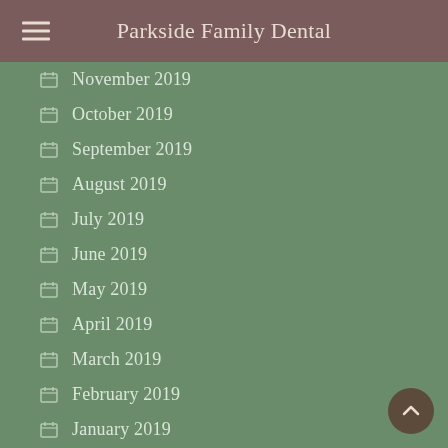Parkside Family Dental
November 2019
October 2019
September 2019
August 2019
July 2019
June 2019
May 2019
April 2019
March 2019
February 2019
January 2019
December 2018
November 2018